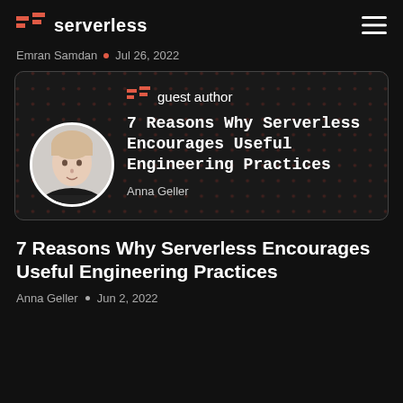serverless
Emran Samdan • Jul 26, 2022
[Figure (screenshot): Card with serverless guest author branding, circular author photo of Anna Geller, and article title '7 Reasons Why Serverless Encourages Useful Engineering Practices']
7 Reasons Why Serverless Encourages Useful Engineering Practices
Anna Geller • Jun 2, 2022